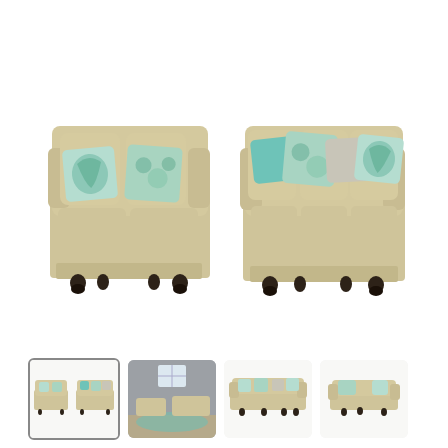[Figure (photo): Main product photo showing a beige/gold sofa set (loveseat and sofa) with teal and floral decorative pillows, on a white background. The loveseat is on the left and the larger sofa is on the right. Both have dark wooden bun feet.]
[Figure (photo): Thumbnail 1 (selected/highlighted): Small image of the same sofa set side by side on white background.]
[Figure (photo): Thumbnail 2: Small image of the sofa set in a room setting with gray walls and a teal rug.]
[Figure (photo): Thumbnail 3: Small image of just the sofa (3-seat) on white background, front view.]
[Figure (photo): Thumbnail 4: Small image of just the loveseat on white background, front view.]